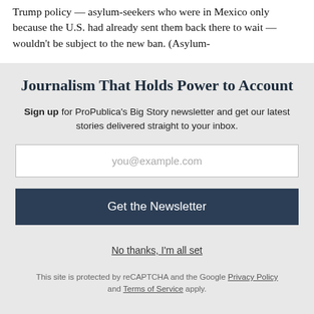Trump policy — asylum-seekers who were in Mexico only because the U.S. had already sent them back there to wait — wouldn't be subject to the new ban. (Asylum-
Journalism That Holds Power to Account
Sign up for ProPublica's Big Story newsletter and get our latest stories delivered straight to your inbox.
you@example.com
Get the Newsletter
No thanks, I'm all set
This site is protected by reCAPTCHA and the Google Privacy Policy and Terms of Service apply.